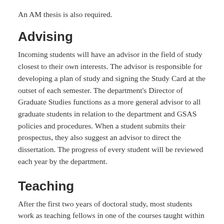An AM thesis is also required.
Advising
Incoming students will have an advisor in the field of study closest to their own interests. The advisor is responsible for developing a plan of study and signing the Study Card at the outset of each semester. The department's Director of Graduate Studies functions as a more general advisor to all graduate students in relation to the department and GSAS policies and procedures. When a student submits their prospectus, they also suggest an advisor to direct the dissertation. The progress of every student will be reviewed each year by the department.
Teaching
After the first two years of doctoral study, most students work as teaching fellows in one of the courses taught within the department, in other departments, or in the undergraduate